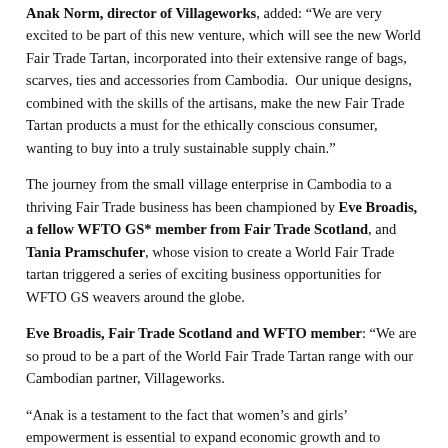Anak Norm, director of Villageworks, added: “We are very excited to be part of this new venture, which will see the new World Fair Trade Tartan, incorporated into their extensive range of bags, scarves, ties and accessories from Cambodia.  Our unique designs, combined with the skills of the artisans, make the new Fair Trade Tartan products a must for the ethically conscious consumer, wanting to buy into a truly sustainable supply chain.”
The journey from the small village enterprise in Cambodia to a thriving Fair Trade business has been championed by Eve Broadis, a fellow WFTO GS* member from Fair Trade Scotland, and Tania Pramschufer, whose vision to create a World Fair Trade tartan triggered a series of exciting business opportunities for WFTO GS weavers around the globe.
Eve Broadis, Fair Trade Scotland and WFTO member: “We are so proud to be a part of the World Fair Trade Tartan range with our Cambodian partner, Villageworks.
“Anak is a testament to the fact that women’s and girls’ empowerment is essential to expand economic growth and to promote social businesses